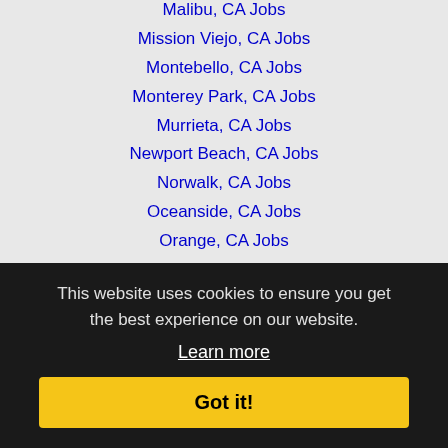Malibu, CA Jobs
Mission Viejo, CA Jobs
Montebello, CA Jobs
Monterey Park, CA Jobs
Murrieta, CA Jobs
Newport Beach, CA Jobs
Norwalk, CA Jobs
Oceanside, CA Jobs
Orange, CA Jobs
Oxnard, CA Jobs
Pico Rivera, CA Jobs
Placentia, CA Jobs
Pomona, CA Jobs
Poway, CA Jobs
Rancho Cucamonga, CA Jobs
This website uses cookies to ensure you get the best experience on our website. Learn more Got it!